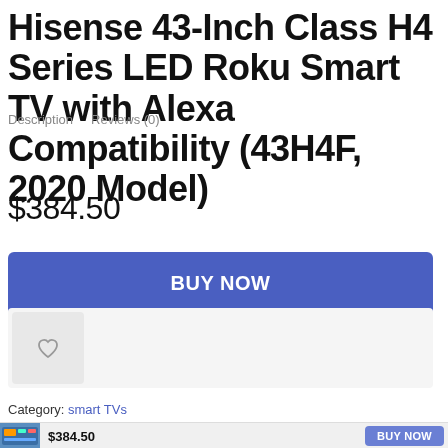Hisense 43-Inch Class H4 Series LED Roku Smart TV with Alexa Compatibility (43H4F, 2020 Model)
Description   Reviews (0)
$384.50
BUY NOW
[Figure (other): Wishlist/heart icon button in a light grey box]
Category: smart TVs
$384.50
BUY NOW